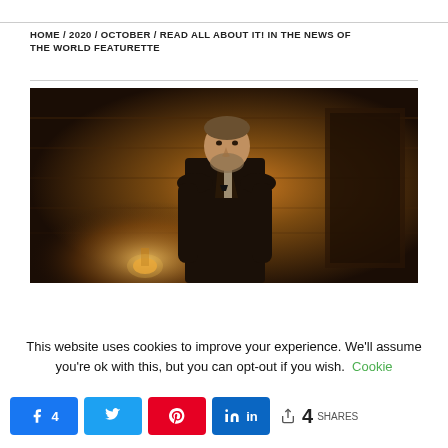HOME / 2020 / OCTOBER / READ ALL ABOUT IT! IN THE NEWS OF THE WORLD FEATURETTE
[Figure (photo): Man in Victorian-era suit and bow tie standing in a warmly lit wooden interior, likely a scene from News of the World film]
This website uses cookies to improve your experience. We'll assume you're ok with this, but you can opt-out if you wish. Cookie
f 4  t  p  in  < 4 SHARES